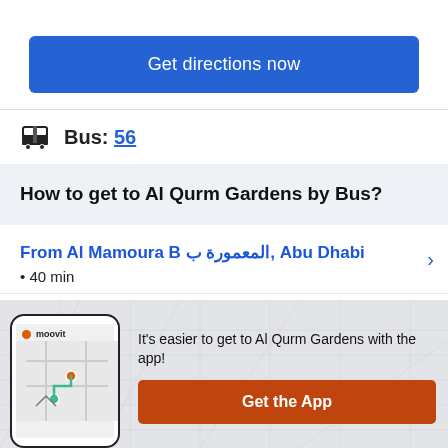Get directions now
Bus: 56
How to get to Al Qurm Gardens by Bus?
From Al Mamoura B المعمورة ب, Abu Dhabi
• 40 min
From Shangri-La Hotel, null
[Figure (screenshot): Moovit app promotional banner with phone mockup showing route map, text: It's easier to get to Al Qurm Gardens with the app!, and a Get the App button]
It's easier to get to Al Qurm Gardens with the app!
Get the App